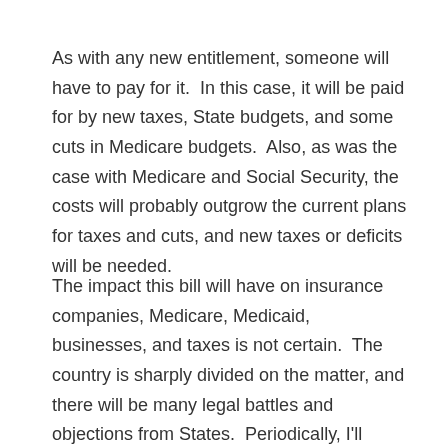As with any new entitlement, someone will have to pay for it.  In this case, it will be paid for by new taxes, State budgets, and some cuts in Medicare budgets.  Also, as was the case with Medicare and Social Security, the costs will probably outgrow the current plans for taxes and cuts, and new taxes or deficits will be needed.
The impact this bill will have on insurance companies, Medicare, Medicaid, businesses, and taxes is not certain.  The country is sharply divided on the matter, and there will be many legal battles and objections from States.  Periodically, I'll update our readers here on what we're seeing on the horizon as things change.  However, history